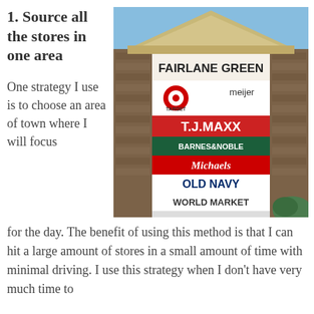1. Source all the stores in one area
[Figure (photo): Outdoor retail shopping center sign for Fairlane Green showing logos for Target, Meijer, T.J.Maxx, Barnes & Noble, Michaels, Old Navy, and World Market]
One strategy I use is to choose an area of town where I will focus for the day. The benefit of using this method is that I can hit a large amount of stores in a small amount of time with minimal driving. I use this strategy when I don't have very much time to